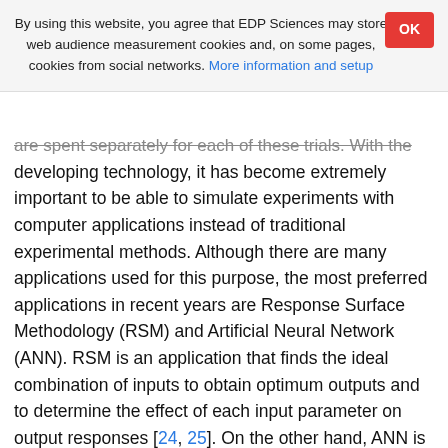By using this website, you agree that EDP Sciences may store web audience measurement cookies and, on some pages, cookies from social networks. More information and setup
are spent separately for each of these trials. With the developing technology, it has become extremely important to be able to simulate experiments with computer applications instead of traditional experimental methods. Although there are many applications used for this purpose, the most preferred applications in recent years are Response Surface Methodology (RSM) and Artificial Neural Network (ANN). RSM is an application that finds the ideal combination of inputs to obtain optimum outputs and to determine the effect of each input parameter on output responses [24, 25]. On the other hand, ANN is a type of application that tries to predict outputs using a small number of experimental data [26, 27]. Although there is no study on modeling with ANN and RSM considering the application of acetone in spark ignition engines, there are studies using different alternative fuels